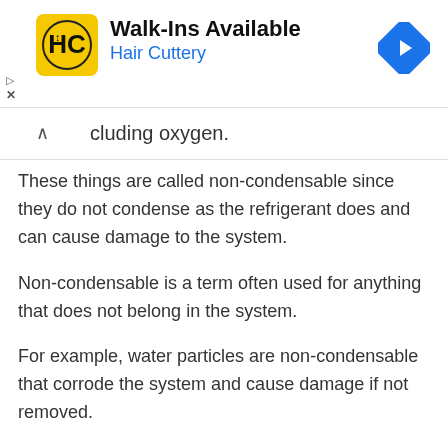[Figure (infographic): Advertisement banner for Hair Cuttery showing logo, 'Walk-Ins Available' text, and navigation arrow icon]
cluding oxygen.
These things are called non-condensable since they do not condense as the refrigerant does and can cause damage to the system.
Non-condensable is a term often used for anything that does not belong in the system.
For example, water particles are non-condensable that corrode the system and cause damage if not removed.